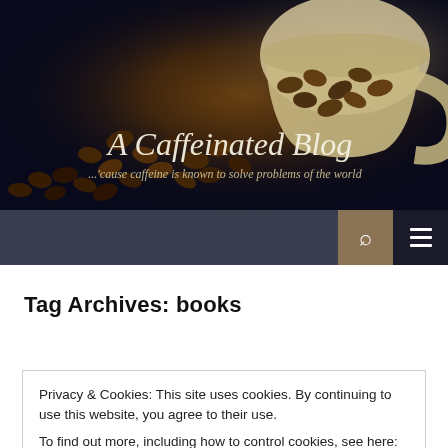[Figure (photo): Dark photo of coffee beans spilling from a white ceramic cup, with cursive text overlay reading 'A Caffeinated Blog' and subtitle '...'cause caffeine is known to solve problems of the world']
Tag Archives: books
Privacy & Cookies: This site uses cookies. By continuing to use this website, you agree to their use.
To find out more, including how to control cookies, see here: Cookie Policy
Close and accept